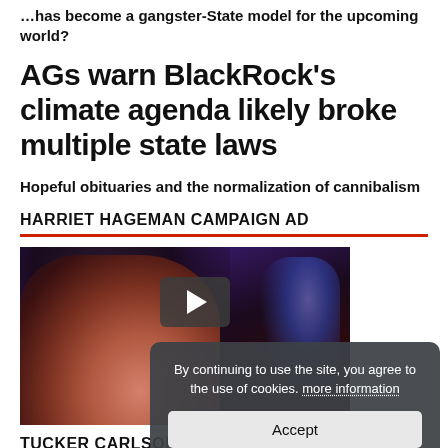…has become a gangster-State model for the upcoming world?
AGs warn BlackRock's climate agenda likely broke multiple state laws
Hopeful obituaries and the normalization of cannibalism
HARRIET HAGEMAN CAMPAIGN AD
[Figure (screenshot): Video thumbnail showing a close-up of a woman's face with dark hair against a blue/purple background, with a play button overlay and a cookie consent popup reading 'By continuing to use the site, you agree to the use of cookies. more information' with an Accept button]
TUCKER CARLSON: WESTERN GOVERNMENTS